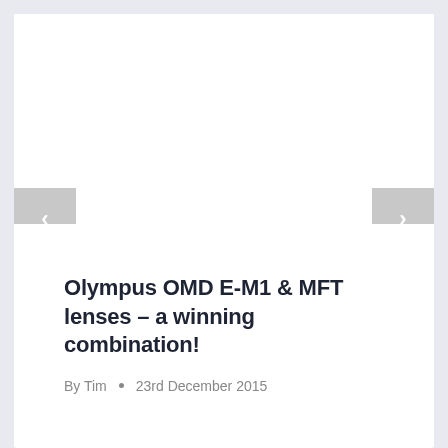[Figure (photo): White image area with left and right navigation arrow buttons on a light gray background]
Olympus OMD E-M1 & MFT lenses – a winning combination!
By Tim • 23rd December 2015